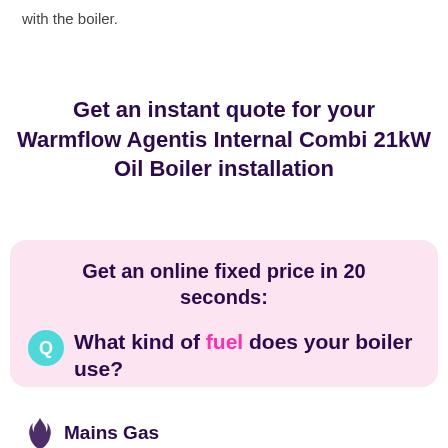with the boiler.
Get an instant quote for your Warmflow Agentis Internal Combi 21kW Oil Boiler installation
Get an online fixed price in 20 seconds:
Q What kind of fuel does your boiler use?
Mains Gas